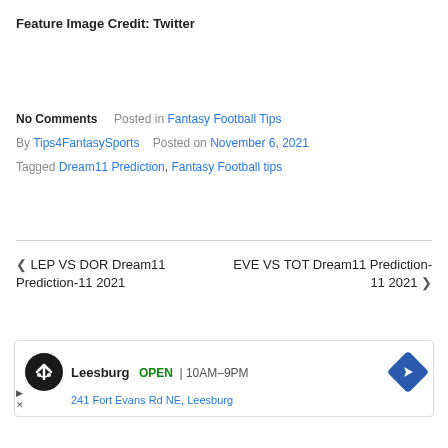Feature Image Credit: Twitter
No Comments  Posted in Fantasy Football Tips
By Tips4FantasySports  Posted on November 6, 2021
Tagged Dream11 Prediction, Fantasy Football tips
◄ LEP VS DOR Dream11 Prediction-11 2021
EVE VS TOT Dream11 Prediction-11 2021 ►
[Figure (other): Advertisement banner for a local business - Leesburg, OPEN 10AM-9PM, 241 Fort Evans Rd NE, Leesburg]